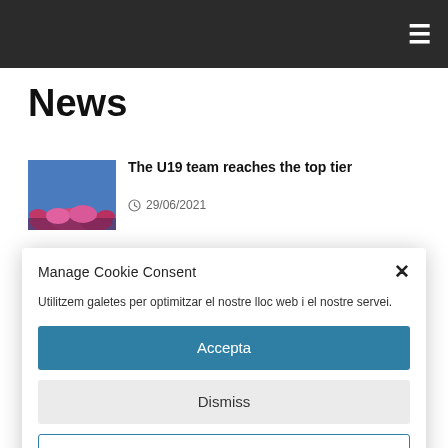News
[Figure (photo): Team photo showing players in pink/red uniforms outdoors with blue sky background]
The U19 team reaches the top tier
29/06/2021
Manage Cookie Consent
Utilitzem galetes per optimitzar el nostre lloc web i el nostre servei.
Accepta
Dismiss
Preferències